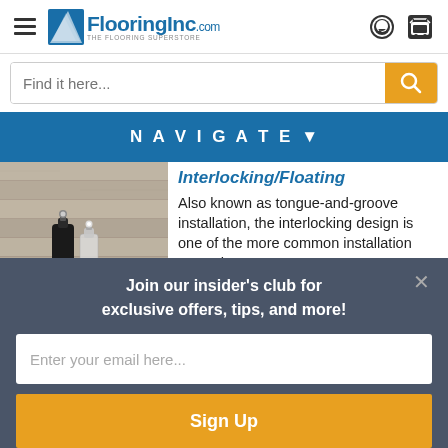[Figure (logo): FlooringInc.com logo with hamburger menu, chat and cart icons in website header]
Find it here...
NAVIGATE ▼
Interlocking/Floating
Also known as tongue-and-groove installation, the interlocking design is one of the more common installation types these
Join our insider's club for exclusive offers, tips, and more!
Enter your email here...
Sign Up